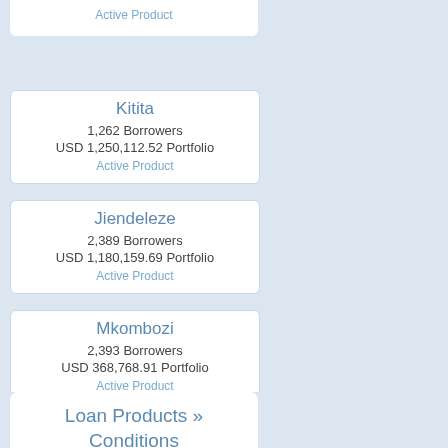Active Product
Kitita
1,262 Borrowers
USD 1,250,112.52 Portfolio
Active Product
Jiendeleze
2,389 Borrowers
USD 1,180,159.69 Portfolio
Active Product
Mkombozi
2,393 Borrowers
USD 368,768.91 Portfolio
Active Product
Loan Products » Conditions
| PRODUCT NAME | LOAN SIZE RANGE | LOAN TERM |
| --- | --- | --- |